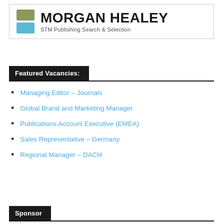[Figure (logo): Morgan Healey logo with green and blue squares and text 'MORGAN HEALEY STM Publishing Search & Selection']
Featured Vacancies:
Managing Editor – Journals
Global Brand and Marketing Manager
Publications Account Executive (EMEA)
Sales Representative – Germany
Regional Manager – DACH
Sponsor